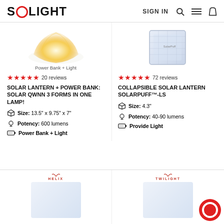SOLIGHT | SIGN IN
[Figure (photo): Solar lantern product photo showing golden/yellow glowing lantern, labeled Power Bank + Light]
[Figure (photo): Collapsible solar lantern SolarPuff product photo showing white translucent cube]
★★★★★ 20 reviews
SOLAR LANTERN + POWER BANK: SOLAR QWNN 3 FORMS in ONE LAMP!
Size: 13.5" x 9.75" x 7"
Potency: 600 lumens
Power Bank + Light
★★★★★ 72 reviews
COLLAPSIBLE SOLAR LANTERN SolarPuff™-LS
Size: 4.3"
Potency: 40-90 lumens
Provide Light
[Figure (photo): HELIX brand solar lantern product photo at bottom left]
[Figure (photo): TWILIGHT brand solar lantern product photo at bottom right]